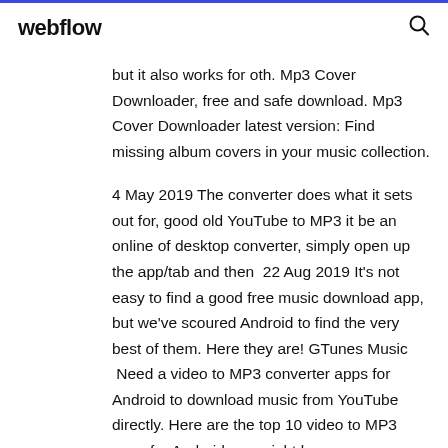webflow
but it also works for oth. Mp3 Cover Downloader, free and safe download. Mp3 Cover Downloader latest version: Find missing album covers in your music collection.
4 May 2019 The converter does what it sets out for, good old YouTube to MP3 it be an online of desktop converter, simply open up the app/tab and then  22 Aug 2019 It's not easy to find a good free music download app, but we've scoured Android to find the very best of them. Here they are! GTunes Music  Need a video to MP3 converter apps for Android to download music from YouTube directly. Here are the top 10 video to MP3 apps for Android you might be